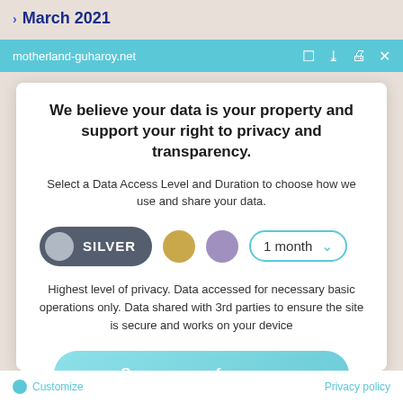> March 2021
motherland-guharoy.net
We believe your data is your property and support your right to privacy and transparency.
Select a Data Access Level and Duration to choose how we use and share your data.
[Figure (infographic): Privacy level selector with Silver pill toggle, gold circle, purple circle, and 1 month dropdown]
Highest level of privacy. Data accessed for necessary basic operations only. Data shared with 3rd parties to ensure the site is secure and works on your device
Save my preferences
Customize   Privacy policy